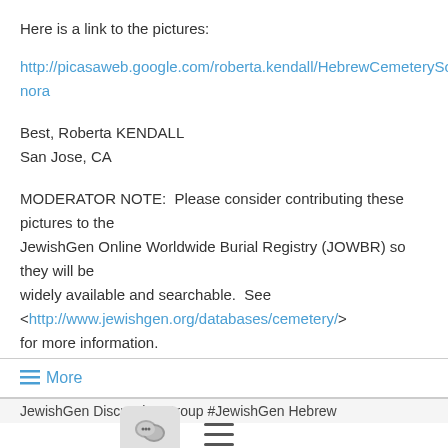Here is a link to the pictures:
http://picasaweb.google.com/roberta.kendall/HebrewCemeterySonora
Best, Roberta KENDALL
San Jose, CA
MODERATOR NOTE:  Please consider contributing these pictures to the JewishGen Online Worldwide Burial Registry (JOWBR) so they will be widely available and searchable.  See <http://www.jewishgen.org/databases/cemetery/> for more information.
≡ More
JewishGen Discussion Group #JewishGen Hebrew